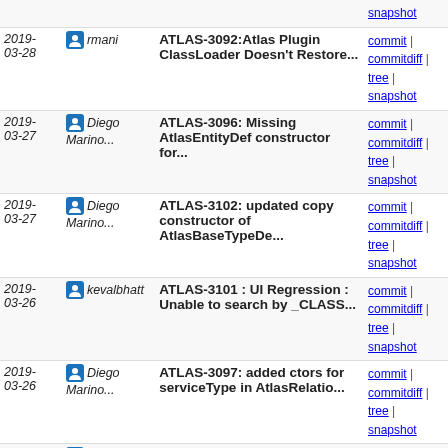| Date | Author | Message | Links |
| --- | --- | --- | --- |
| 2019-03-28 | rmani | ATLAS-3092:Atlas Plugin ClassLoader Doesn't Restore... | commit | commitdiff | tree | snapshot |
| 2019-03-27 | Diego Marino... | ATLAS-3096: Missing AtlasEntityDef constructor for... | commit | commitdiff | tree | snapshot |
| 2019-03-27 | Diego Marino... | ATLAS-3102: updated copy constructor of AtlasBaseTypeDe... | commit | commitdiff | tree | snapshot |
| 2019-03-26 | kevalbhatt | ATLAS-3101 : UI Regression : Unable to search by _CLASS... | commit | commitdiff | tree | snapshot |
| 2019-03-26 | Diego Marino... | ATLAS-3097: added ctors for serviceType in AtlasRelatio... | commit | commitdiff | tree | snapshot |
| 2019-03-24 | chaitali | ATLAS-3001: fixed serialization error in AtlasClientV2... | commit | commitdiff | tree | snapshot |
| 2019-03-24 | jzonthemtn | ATLAS-3064: Resolving repo URL and Maven version. | commit | commitdiff | tree | snapshot |
| 2019-03-22 | gutkaBinit | ATLAS-3093 UI : Fix to add missing tooltips to lineage... | commit | commitdiff | tree | snapshot |
| 2019-03-22 | gutkaBinit | ATLAS-2945 UI - If a Term is assigned to an Category... | commit | commitdiff | tree | snapshot |
| 2019- | Sarath | ATLAS-3067: Fix intermittent | commit | commitdiff |